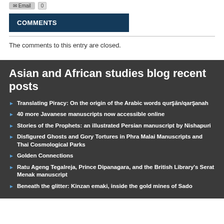COMMENTS
The comments to this entry are closed.
Asian and African studies blog recent posts
Translating Piracy: On the origin of the Arabic words qurṣān/qarṣanah
40 more Javanese manuscripts now accessible online
Stories of the Prophets: an illustrated Persian manuscript by Nishapuri
Disfigured Ghosts and Gory Tortures in Phra Malai Manuscripts and Thai Cosmological Parks
Golden Connections
Ratu Ageng Tegalreja, Prince Dipanagara, and the British Library's Serat Menak manuscript
Beneath the glitter: Kinzan emaki, inside the gold mines of Sado